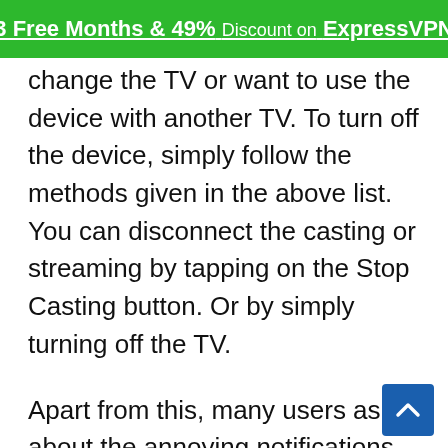3 Free Months & 49% Discount on ExpressVPN
change the TV or want to use the device with another TV. To turn off the device, simply follow the methods given in the above list. You can disconnect the casting or streaming by tapping on the Stop Casting button. Or by simply turning off the TV.
Apart from this, many users ask about the annoying notifications that they receive frequently on their devices. These are the notifications that keep popping up when you stream media files. If you want to get rid of these annoying notifications, then there’s an option to turn the Chromecast Remote Notifications Off. Let’s see how it is don…